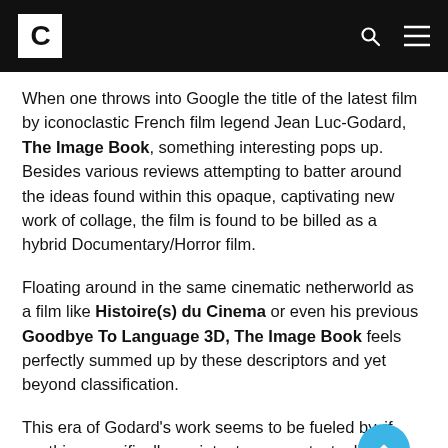Culturally (logo header with search and menu icons)
When one throws into Google the title of the latest film by iconoclastic French film legend Jean Luc-Godard, The Image Book, something interesting pops up. Besides various reviews attempting to batter around the ideas found within this opaque, captivating new work of collage, the film is found to be billed as a hybrid Documentary/Horror film.
Floating around in the same cinematic netherworld as a film like Histoire(s) du Cinema or even his previous Goodbye To Language 3D, The Image Book feels perfectly summed up by these descriptors and yet beyond classification.
This era of Godard's work seems to be fueled by, if anything specifically, an intent on recontextualizing images and man's relationship to them. While for the